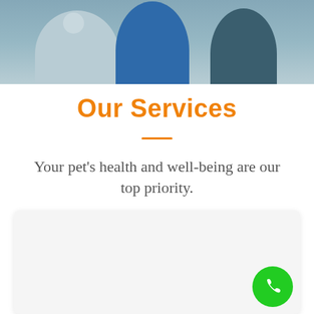[Figure (photo): Background photo showing people (silhouettes/figures) standing with arms crossed, partially cropped at top of page]
Our Services
Your pet's health and well-being are our top priority.
[Figure (other): Light gray card box with a green phone call button in the bottom-right corner]